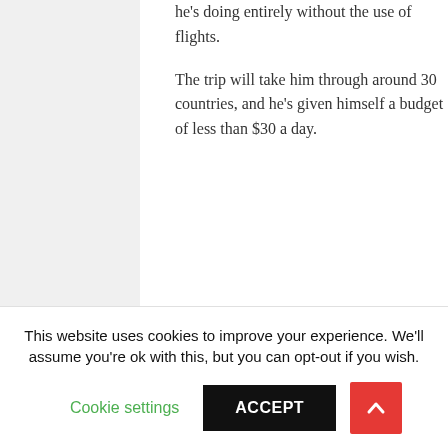he's doing entirely without the use of flights.

The trip will take him through around 30 countries, and he's given himself a budget of less than $30 a day.
[Figure (photo): A bearded man wearing a dark jacket and backpack looking down at a laptop computer, with snow-capped mountains and pine trees in the background.]
This website uses cookies to improve your experience. We'll assume you're ok with this, but you can opt-out if you wish.
Cookie settings   ACCEPT